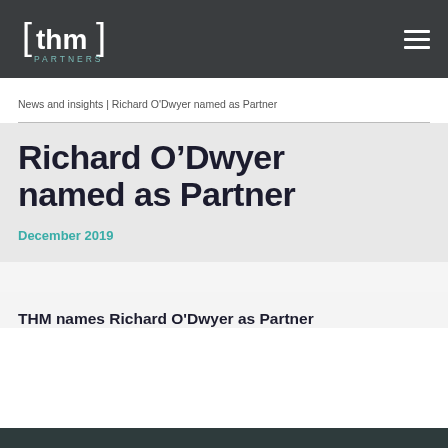thm PARTNERS
News and insights | Richard O'Dwyer named as Partner
Richard O’Dwyer named as Partner
December 2019
THM names Richard O'Dwyer as Partner
[Figure (photo): Bottom image strip, partially visible]